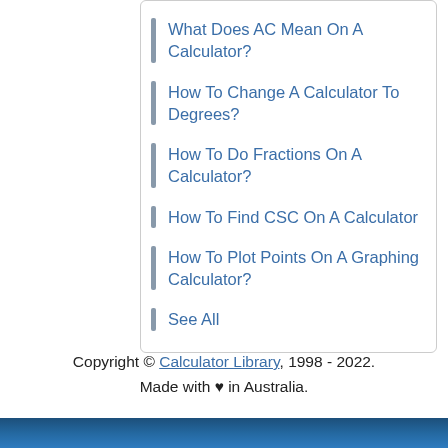What Does AC Mean On A Calculator?
How To Change A Calculator To Degrees?
How To Do Fractions On A Calculator?
How To Find CSC On A Calculator
How To Plot Points On A Graphing Calculator?
See All
Copyright © Calculator Library, 1998 - 2022. Made with ♥ in Australia.